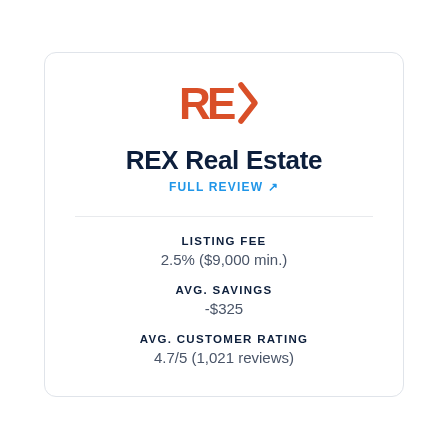[Figure (logo): REX logo in orange/red color with stylized chevron shape]
REX Real Estate
FULL REVIEW ↗
LISTING FEE
2.5% ($9,000 min.)
AVG. SAVINGS
-$325
AVG. CUSTOMER RATING
4.7/5 (1,021 reviews)